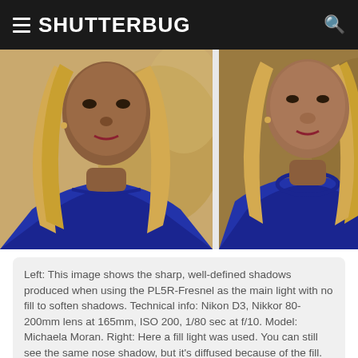SHUTTERBUG
[Figure (photo): Two side-by-side portrait photos of a woman with long blonde hair wearing a blue sweater. Left photo shows sharp, well-defined shadows with no fill light. Right photo shows the same scene with a fill light added, diffusing the nose shadow.]
Left: This image shows the sharp, well-defined shadows produced when using the PL5R-Fresnel as the main light with no fill to soften shadows. Technical info: Nikon D3, Nikkor 80-200mm lens at 165mm, ISO 200, 1/80 sec at f/10. Model: Michaela Moran. Right: Here a fill light was used. You can still see the same nose shadow, but it's diffused because of the fill. Same exposure as the non-fill shot.
Photos © Steve Bedell